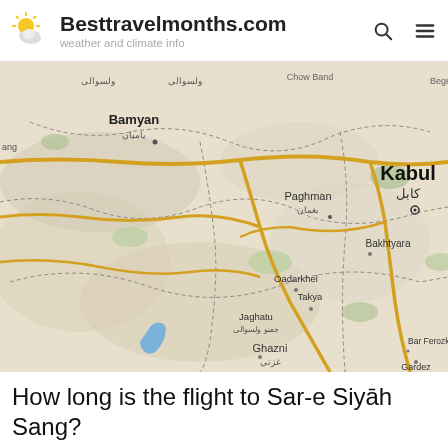Besttravelmonths.com — weather and climate info
[Figure (map): Google Maps view centered on Afghanistan showing Kabul, Bamyan, Paghman, Bakhtyara, Ghazni, Oadarkhel, Takya, Jaghatu, Bar Ferozkhel, Gardez and surrounding areas with road network and topographic shading.]
How long is the flight to Sar-e Siyāh Sang?